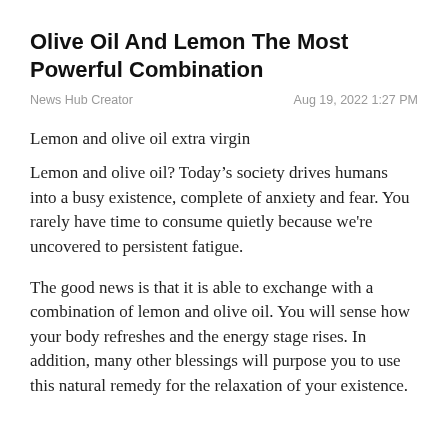Olive Oil And Lemon The Most Powerful Combination
News Hub Creator    Aug 19, 2022 1:27 PM
Lemon and olive oil extra virgin
Lemon and olive oil? Today’s society drives humans into a busy existence, complete of anxiety and fear. You rarely have time to consume quietly because we're uncovered to persistent fatigue.
The good news is that it is able to exchange with a combination of lemon and olive oil. You will sense how your body refreshes and the energy stage rises. In addition, many other blessings will purpose you to use this natural remedy for the relaxation of your existence.